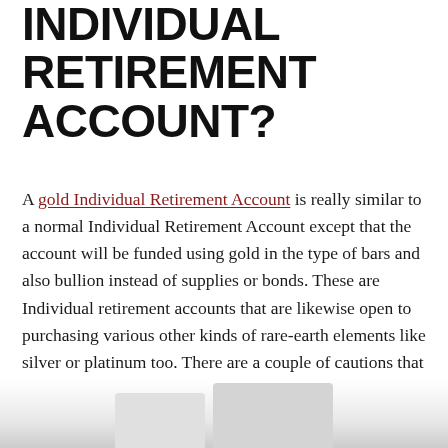INDIVIDUAL RETIREMENT ACCOUNT?
A gold Individual Retirement Account is really similar to a normal Individual Retirement Account except that the account will be funded using gold in the type of bars and also bullion instead of supplies or bonds. These are Individual retirement accounts that are likewise open to purchasing various other kinds of rare-earth elements like silver or platinum too. There are a couple of cautions that can make complex the decision of whether to invest in this sort of account for your retired life.
[Figure (photo): Partial view of objects at the bottom of the page, appears to be gold bars or similar financial objects, cropped at page bottom]